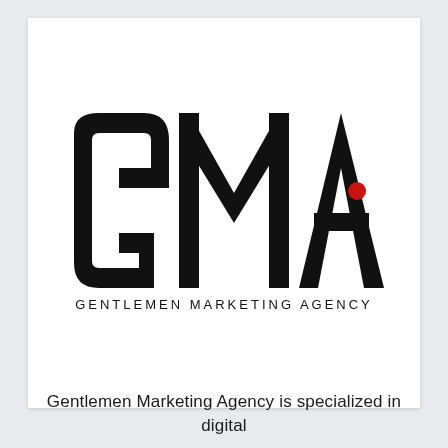[Figure (logo): GMA Gentlemen Marketing Agency logo. Large bold black letters 'GMA' with a red dot accent inside the letter A. Below in spaced uppercase sans-serif: 'GENTLEMEN MARKETING AGENCY'.]
Gentlemen Marketing Agency is specialized in digital